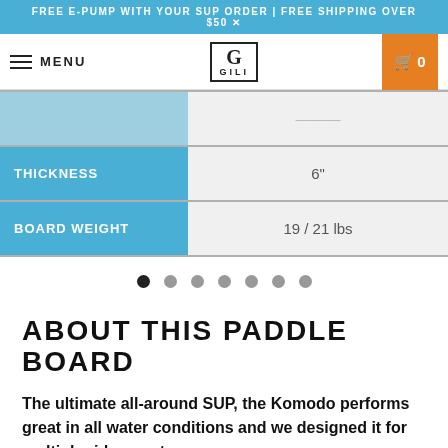FREE E-PUMP WITH YOUR SUP ORDER | FREE SHIPPING OVER $50
[Figure (screenshot): Navigation bar with hamburger menu (MENU), GILI logo in center, and orange cart button with 0 count on right]
| THICKNESS | 6" |
| BOARD WEIGHT | 19 / 21 lbs |
[Figure (other): Pagination dots: 7 dots, first one filled black, rest gray]
ABOUT THIS PADDLE BOARD
The ultimate all-around SUP, the Komodo performs great in all water conditions and we designed it for multiple riders, pets, yoga